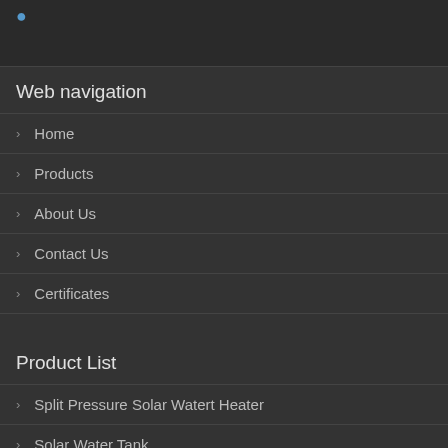Web navigation
Home
Products
About Us
Contact Us
Certificates
Product List
Split Pressure Solar Watert Heater
Solar Water Tank
Solar Collector